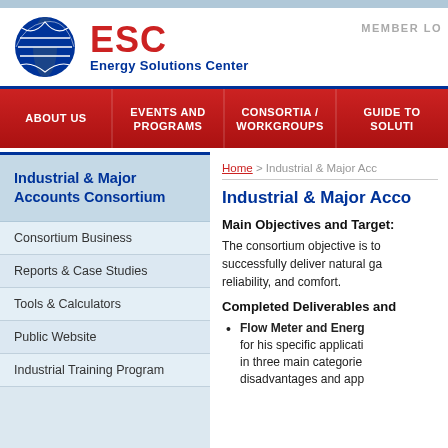[Figure (logo): ESC Energy Solutions Center logo with circular blue globe icon, red ESC text, and blue subtitle]
MEMBER LO
[Figure (infographic): Red navigation bar with menu items: ABOUT US, EVENTS AND PROGRAMS, CONSORTIA / WORKGROUPS, GUIDE TO SOLUTI]
Home > Industrial & Major Acc
Industrial & Major Accounts Consortium
Consortium Business
Reports & Case Studies
Tools & Calculators
Public Website
Industrial Training Program
Industrial & Major Acco
Main Objectives and Target:
The consortium objective is to successfully deliver natural ga reliability, and comfort.
Completed Deliverables and
Flow Meter and Energ for his specific applicati in three main categorie disadvantages and app